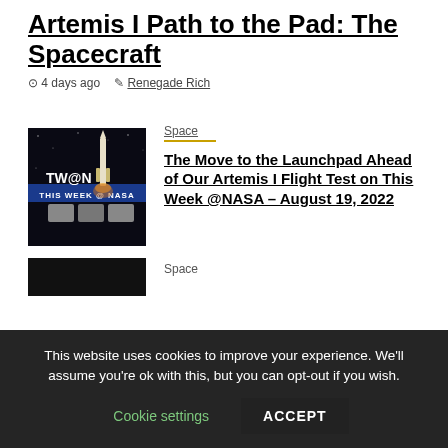Artemis I Path to the Pad: The Spacecraft
4 days ago   Renegade Rich
Space
The Move to the Launchpad Ahead of Our Artemis I Flight Test on This Week @NASA – August 19, 2022
[Figure (photo): Thumbnail image showing the TW@N (This Week at NASA) branded graphic with a rocket launch image and text THIS WEEK @ NASA on a dark background]
Space
This website uses cookies to improve your experience. We'll assume you're ok with this, but you can opt-out if you wish.
Cookie settings   ACCEPT